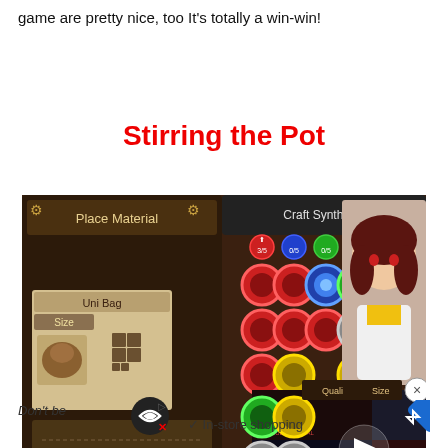game are pretty nice, too It's totally a win-win!
Stirring the Pot
[Figure (screenshot): Screenshot of a game crafting interface showing 'Craft Synthesis' and 'Place Material' panels with colorful ring tokens on a board, alongside an overlapping video ad for 'Squirrel With A Gun Trailer' with MW logo and play button, and an anime character on the right side.]
Don't be  ✓ In-store shopping